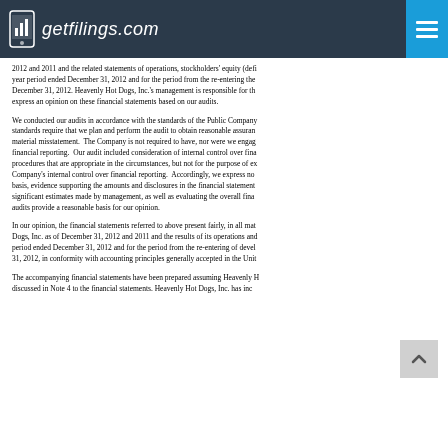getfilings.com
2012 and 2011 and the related statements of operations, stockholders' equity (def... year period ended December 31, 2012 and for the period from the re-entering the ... December 31, 2012. Heavenly Hot Dogs, Inc.'s management is responsible for th... express an opinion on these financial statements based on our audits.
We conducted our audits in accordance with the standards of the Public Company... standards require that we plan and perform the audit to obtain reasonable assuran... material misstatement. The Company is not required to have, nor were we engag... financial reporting. Our audit included consideration of internal control over fina... procedures that are appropriate in the circumstances, but not for the purpose of ex... Company's internal control over financial reporting. Accordingly, we express no... basis, evidence supporting the amounts and disclosures in the financial statement... significant estimates made by management, as well as evaluating the overall fina... audits provide a reasonable basis for our opinion.
In our opinion, the financial statements referred to above present fairly, in all mat... Dogs, Inc. as of December 31, 2012 and 2011 and the results of its operations and... period ended December 31, 2012 and for the period from the re-entering of devel... 31, 2012, in conformity with accounting principles generally accepted in the Unit...
The accompanying financial statements have been prepared assuming Heavenly H... discussed in Note 4 to the financial statements. Heavenly Hot Dogs, Inc. has inc...